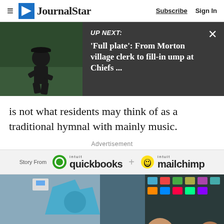≡  JournalStar   Subscribe   Sign In
[Figure (screenshot): UP NEXT banner with umpire photo. Text: 'Full plate': From Morton village clerk to fill-in ump at Chiefs ...]
is not what residents may think of as a traditional hymnal with mainly music.
Advertisement
[Figure (logo): Story From intuit quickbooks + intuit mailchimp advertisement banner]
[Figure (photo): Shop interior with colorful t-shirts and two people visible]
0  Subscribe  Sign in